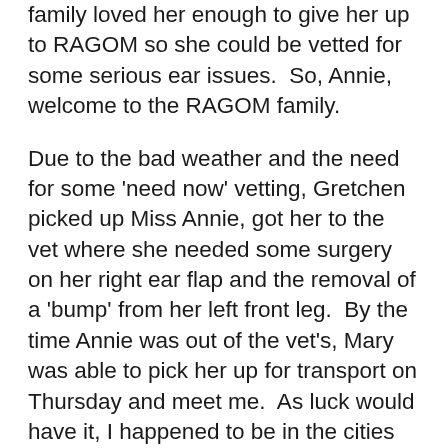family loved her enough to give her up to RAGOM so she could be vetted for some serious ear issues.  So, Annie, welcome to the RAGOM family.
Due to the bad weather and the need for some 'need now' vetting, Gretchen picked up Miss Annie, got her to the vet where she needed some surgery on her right ear flap and the removal of a 'bump' from her left front leg.  By the time Annie was out of the vet's, Mary was able to pick her up for transport on Thursday and meet me.  As luck would have it, I happened to be in the cities and